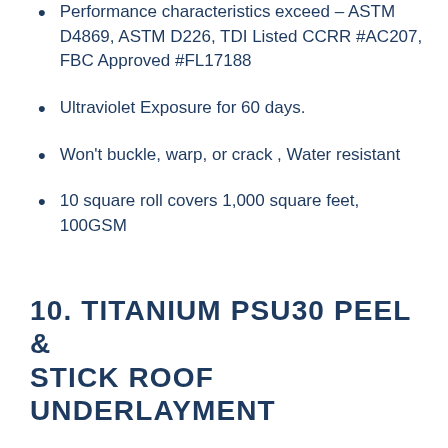Performance characteristics exceed – ASTM D4869, ASTM D226, TDI Listed CCRR #AC207, FBC Approved #FL17188
Ultraviolet Exposure for 60 days.
Won't buckle, warp, or crack , Water resistant
10 square roll covers 1,000 square feet, 100GSM
10. TITANIUM PSU30 PEEL & STICK ROOF UNDERLAYMENT